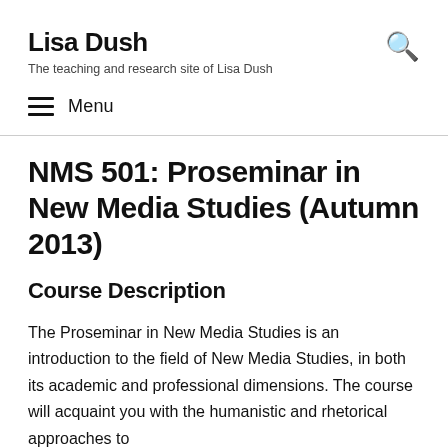Lisa Dush
The teaching and research site of Lisa Dush
Menu
NMS 501: Proseminar in New Media Studies (Autumn 2013)
Course Description
The Proseminar in New Media Studies is an introduction to the field of New Media Studies, in both its academic and professional dimensions. The course will acquaint you with the humanistic and rhetorical approaches to